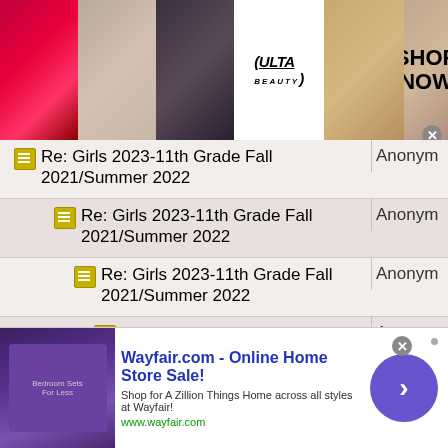[Figure (photo): Ulta Beauty advertisement banner with makeup images and SHOP NOW call to action]
Re: Girls 2023-11th Grade Fall 2021/Summer 2022
Re: Girls 2023-11th Grade Fall 2021/Summer 2022
Re: Girls 2023-11th Grade Fall 2021/Summer 2022
Re: Girls 2023-11th Grade Fall 2021/Summer 2022
Re: Girls 2023-11th Grade Fall 2021/Summer 2022
Re: Girls 2023-11th Grade Fall 2021/Summer 2022
Re: Girls 2023-11th Grade Fall 2021/Summer 2022
[Figure (infographic): Wayfair.com Online Home Store Sale advertisement with thumbnail and arrow button]